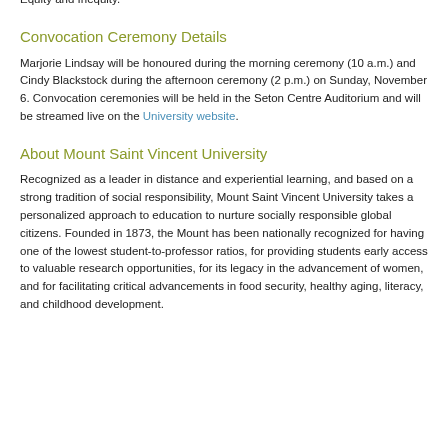Commissioner for the Pan American Health Organization's study on Health Equity and Inequity.
Convocation Ceremony Details
Marjorie Lindsay will be honoured during the morning ceremony (10 a.m.) and Cindy Blackstock during the afternoon ceremony (2 p.m.) on Sunday, November 6. Convocation ceremonies will be held in the Seton Centre Auditorium and will be streamed live on the University website.
About Mount Saint Vincent University
Recognized as a leader in distance and experiential learning, and based on a strong tradition of social responsibility, Mount Saint Vincent University takes a personalized approach to education to nurture socially responsible global citizens. Founded in 1873, the Mount has been nationally recognized for having one of the lowest student-to-professor ratios, for providing students early access to valuable research opportunities, for its legacy in the advancement of women, and for facilitating critical advancements in food security, healthy aging, literacy, and childhood development.